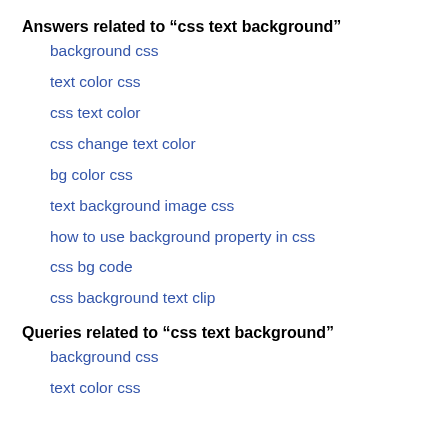Answers related to “css text background”
background css
text color css
css text color
css change text color
bg color css
text background image css
how to use background property in css
css bg code
css background text clip
Queries related to “css text background”
background css
text color css